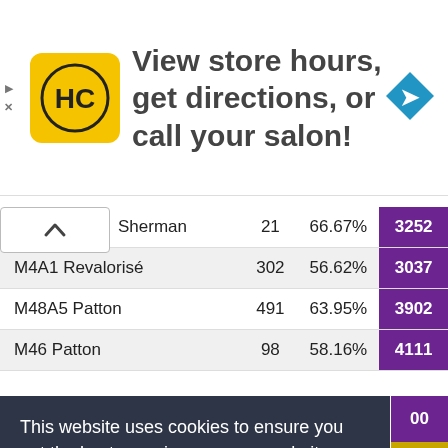[Figure (screenshot): Ad banner for HC salon with logo and navigation arrow icon, text: View store hours, get directions, or call your salon!]
|  | 21 | 66.67% | 3252 |
| --- | --- | --- | --- |
| Sherman | 21 | 66.67% | 3252 |
| M4A1 Revalorisé | 302 | 56.62% | 3037 |
| M48A5 Patton | 491 | 63.95% | 3902 |
| M46 Patton | 98 | 58.16% | 4111 |
This website uses cookies to ensure you get the best experience on our website. Learn more
Got it!